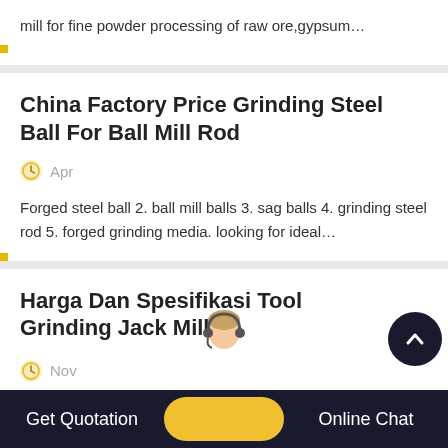mill for fine powder processing of raw ore,gypsum…
China Factory Price Grinding Steel Ball For Ball Mill Rod
Apr
Forged steel ball 2. ball mill balls 3. sag balls 4. grinding steel rod 5. forged grinding media. looking for ideal…
Harga Dan Spesifikasi Tool Grinding Jack Mill
Nov
Get Quotation    Online Chat